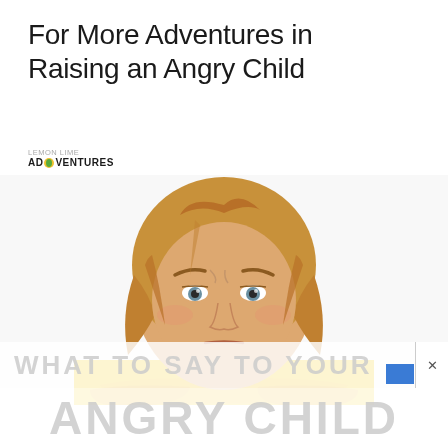For More Adventures in Raising an Angry Child
[Figure (logo): Lemon Lime Adventures logo with small lemon/lime icon]
[Figure (photo): A young girl with blonde hair wearing a yellow sweater, leaning forward with her arms crossed, making an angry or serious facial expression, photographed against a white background]
WHAT TO SAY TO YOUR ANGRY CHILD